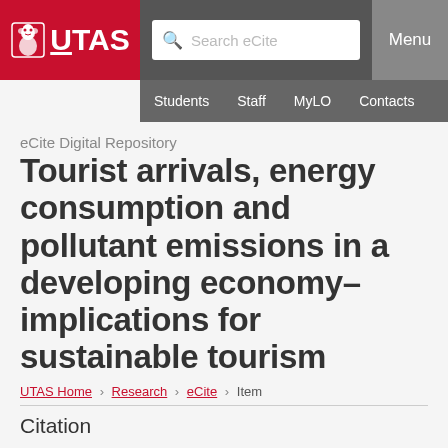eCite Digital Repository — UTAS header with navigation: Students, Staff, MyLO, Contacts
eCite Digital Repository
Tourist arrivals, energy consumption and pollutant emissions in a developing economy–implications for sustainable tourism
UTAS Home > Research > eCite > Item
Citation
Nepal, R and al Irsyad, MI and Nepal, SK, Tourist arrivals, energy consumption and pollutant emissions in a developing economy-implications for sustainable tourism, Tourism Management, 72